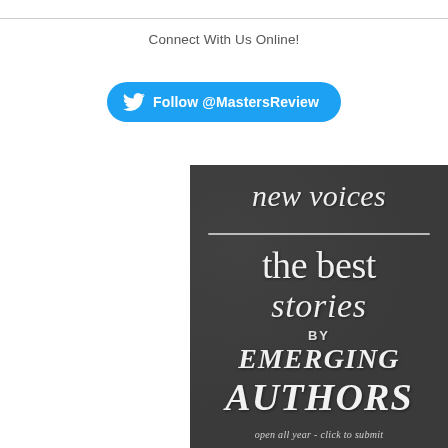Connect With Us Online!
[Figure (other): Twitter/X follow button with bird icon reading 'Follow @MastersReview' on a blue rounded rectangle background]
[Figure (illustration): Chalkboard-style promotional image reading: 'new voices / the best stories / BY / EMERGING AUTHORS / open all year - click to submit']